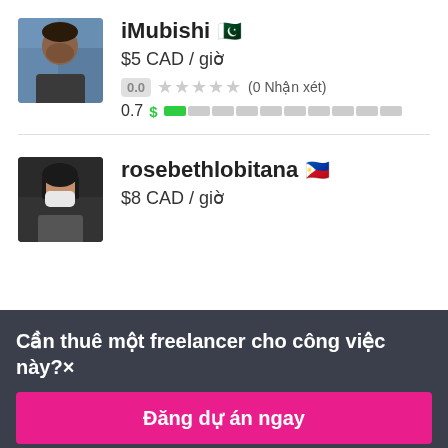[Figure (photo): Profile photo of iMubishi - person with beard against blue/yellow background]
iMubishi 🇵🇰
$5 CAD / giờ
0.0 ★★★★★ (0 Nhận xét)
0.7 $ ▇░░░░░░░░░
[Figure (photo): Profile photo of rosebethlobitana - person wearing face mask]
rosebethlobitana 🇵🇭
$8 CAD / giờ
Cần thuê một freelancer cho công việc này?×
Đăng dự án ngay